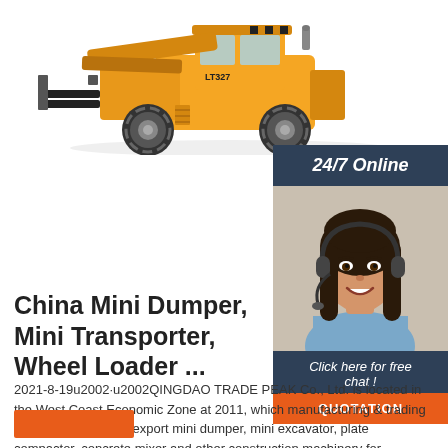[Figure (photo): Yellow wheel loader / forklift construction machine (LT327) on white background, photographed from the side]
[Figure (photo): 24/7 Online chat widget with a smiling woman wearing a headset, dark slate header saying '24/7 Online', subtext 'Click here for free chat!' and an orange QUOTATION button]
China Mini Dumper, Mini Transporter, Wheel Loader ...
2021-8-19u2002·u2002QINGDAO TRADE PEAK Co., Ltd. is located in the West Coast Economic Zone at 2011, which manufacturing & trading combo produce and export mini dumper, mini excavator, plate compactor, concrete mixer and other construction machinery for